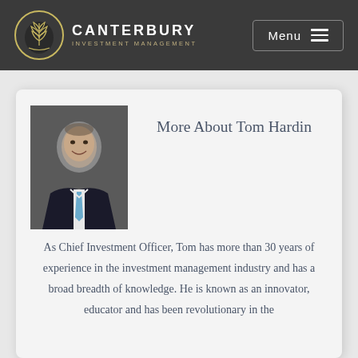CANTERBURY INVESTMENT MANAGEMENT
More About Tom Hardin
[Figure (photo): Professional headshot of Tom Hardin in a dark suit and blue tie, smiling, against a dark background]
As Chief Investment Officer, Tom has more than 30 years of experience in the investment management industry and has a broad breadth of knowledge. He is known as an innovator, educator and has been revolutionary in the